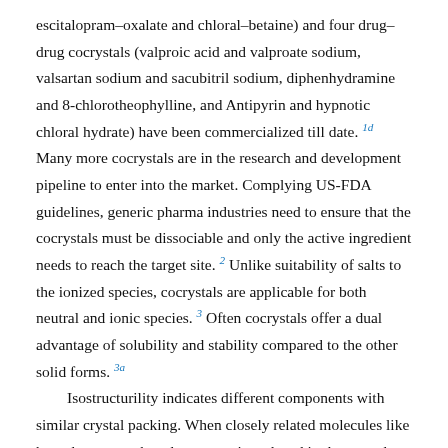escitalopram–oxalate and chloral–betaine) and four drug–drug cocrystals (valproic acid and valproate sodium, valsartan sodium and sacubitril sodium, diphenhydramine and 8-chlorotheophylline, and Antipyrin and hypnotic chloral hydrate) have been commercialized till date. 1d Many more cocrystals are in the research and development pipeline to enter into the market. Complying US-FDA guidelines, generic pharma industries need to ensure that the cocrystals must be dissociable and only the active ingredient needs to reach the target site. 2 Unlike suitability of salts to the ionized species, cocrystals are applicable for both neutral and ionic species. 3 Often cocrystals offer a dual advantage of solubility and stability compared to the other solid forms. 3a Isostructurility indicates different components with similar crystal packing. When closely related molecules like homologues or phenylogues are introduced in the crystal lattice of a single component, the corresponding binary system may exhibit close packing. 4 Isostructural cocrystals with similar structural blueprints may exhibit modified pharmaceutically relevant properties due to